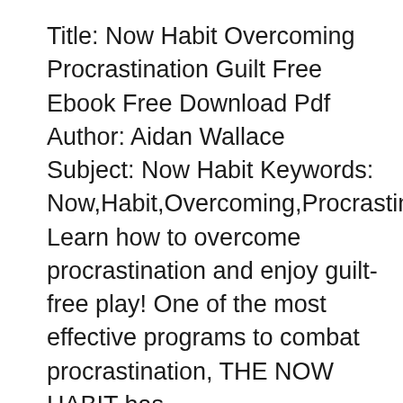Title: Now Habit Overcoming Procrastination Guilt Free Ebook Free Download Pdf Author: Aidan Wallace Subject: Now Habit Keywords: Now,Habit,Overcoming,Procrastination Learn how to overcome procrastination and enjoy guilt-free play! One of the most effective programs to combat procrastination, THE NOW HABIT has...
The Now Habit Review and Analysis of Fiore's Book https://www.mustreadsummaries.com/summary/the-now-habit/ 9782806233707 36 EBook application/pdf BusinessNews the now habit Download the now habit or read online here in PDF or EPUB. Please click button to get the now